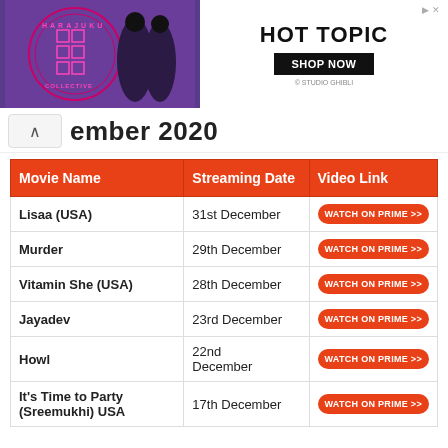[Figure (photo): Advertisement banner for Hot Topic featuring Harajuku Collective logo with two characters in anime-style costumes, purple background. Includes HOT TOPIC text and SHOP NOW button.]
ember 2020
| Movie Name | Streaming Date | Video Link |
| --- | --- | --- |
| Lisaa (USA) | 31st December | WATCH ON PRIME >> |
| Murder | 29th December | WATCH ON PRIME >> |
| Vitamin She (USA) | 28th December | WATCH ON PRIME >> |
| Jayadev | 23rd December | WATCH ON PRIME >> |
| Howl | 22nd December | WATCH ON PRIME >> |
| It's Time to Party (Sreemukhi) USA | 17th December | WATCH ON PRIME >> |